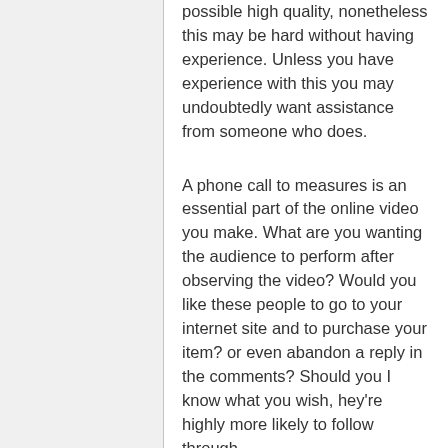possible high quality, nonetheless this may be hard without having experience. Unless you have experience with this you may undoubtedly want assistance from someone who does.
A phone call to measures is an essential part of the online video you make. What are you wanting the audience to perform after observing the video? Would you like these people to go to your internet site and to purchase your item? or even abandon a reply in the comments? Should you I know what you wish, hey're highly more likely to follow through.
Encourage responses in your online video. Include one thing controversial, however, not too debatable. Abandon